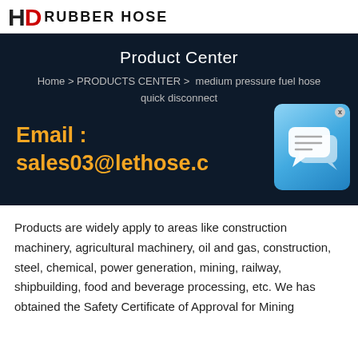HD RUBBER HOSE
Product Center
Home > PRODUCTS CENTER > medium pressure fuel hose quick disconnect
Email : sales03@lethose.c
[Figure (illustration): Chat widget icon — blue rounded rectangle with speech bubble icons]
Products are widely apply to areas like construction machinery, agricultural machinery, oil and gas, construction, steel, chemical, power generation, mining, railway, shipbuilding, food and beverage processing, etc. We has obtained the Safety Certificate of Approval for Mining